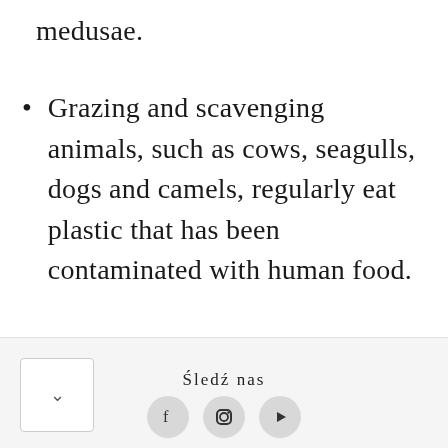medusae.
Grazing and scavenging animals, such as cows, seagulls, dogs and camels, regularly eat plastic that has been contaminated with human food.
Śledź nas